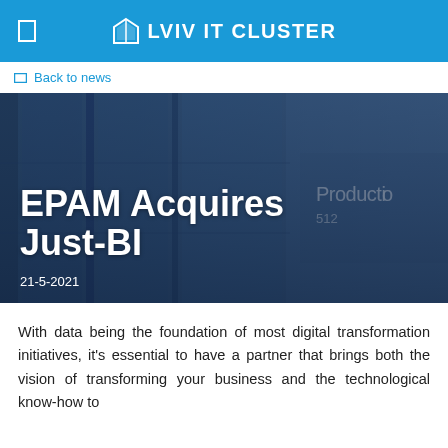LVIV IT CLUSTER
Back to news
[Figure (photo): Dark blue-toned photo of server racks or industrial infrastructure with text overlay showing article title and date]
EPAM Acquires Just-BI
21-5-2021
With data being the foundation of most digital transformation initiatives, it's essential to have a partner that brings both the vision of transforming your business and the technological know-how to